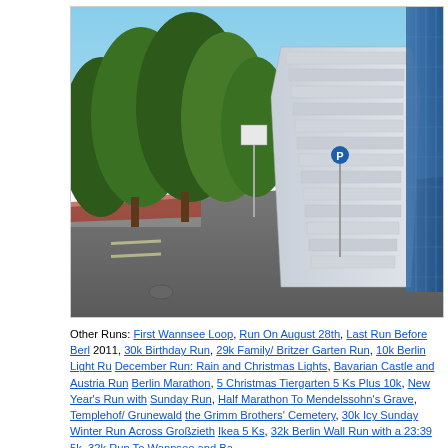[Figure (photo): Outdoor photo showing a street scene with trees on the left, a modern multi-story white building with stepped/layered balconies in the background center, and a glass curtain wall building on the right edge. Blue sky visible at top. Road and sidewalk in foreground.]
Other Runs: First Wannsee Loop, Run On August 28th, Last Run Before Berl 2011, 30k Birthday Run, 29k Family/ Britzer Garten Run, 10k Berlin Light Ru December Run: Rain and Christmas Lights, Bavarian Castle and Austria Run Berlin Marathon, 5 Christmas Tiergarten 5 Ks Plus 10k, New Year's Run with Sunday Run, Half Marathon To Mendelssohn's Grave, Templehof/ Grunewald the Grimm Brothers' Cemetery, 30k Icy Sunday Winter Run Across Großzieth Ikea 5 Ks, 32k Berlin Wall Run with a 23:39 5k, 32k Run To Wannsee and Ba